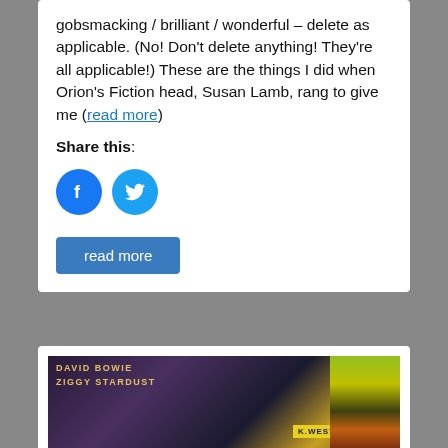gobsmacking / brilliant / wonderful – delete as applicable. (No! Don't delete anything! They're all applicable!) These are the things I did when Orion's Fiction head, Susan Lamb, rang to give me (read more)
Share this:
[Figure (other): Facebook and Twitter share icon buttons (circular blue icons)]
read more
[Figure (photo): David Bowie Ziggy Stardust album cover photograph showing a street scene at night with yellow/green neon signs on the right side and a dark moody atmosphere]